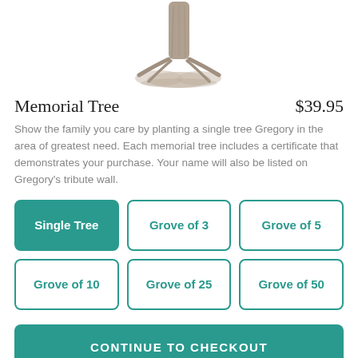[Figure (illustration): Bottom portion of a pencil-drawn memorial tree trunk with roots, centered at top of page]
Memorial Tree
$39.95
Show the family you care by planting a single tree Gregory in the area of greatest need. Each memorial tree includes a certificate that demonstrates your purchase. Your name will also be listed on Gregory's tribute wall.
Single Tree
Grove of 3
Grove of 5
Grove of 10
Grove of 25
Grove of 50
CONTINUE TO CHECKOUT